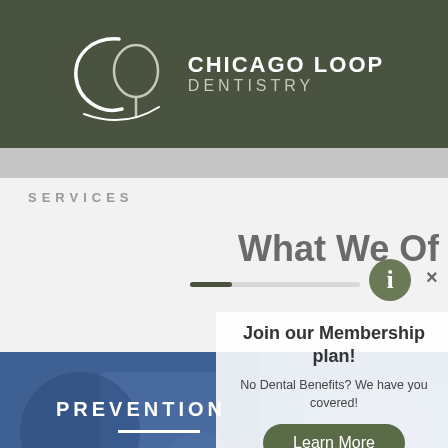[Figure (logo): Chicago Loop Dentistry logo — stylized CL letters in white cursive on dark olive/green background, with text CHICAGO LOOP DENTISTRY]
CHICAGO LOOP DENTISTRY
SERVICES
What We Of
Join our Membership plan!
No Dental Benefits? We have you covered!
Learn More
[Figure (photo): Blurred blue-toned photo of dental professionals working, with PREVENTION label overlaid in white bold text]
PREVENTION